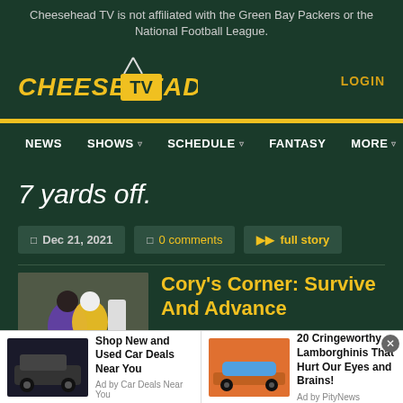Cheesehead TV is not affiliated with the Green Bay Packers or the National Football League.
[Figure (logo): Cheesehead TV logo with yellow italic text and TV box icon]
LOGIN
NEWS   SHOWS   SCHEDULE   FANTASY   MORE
7 yards off.
Dec 21, 2021   0 comments   full story
[Figure (photo): Football game action photo with players in green and yellow vs purple uniforms]
Cory's Corner: Survive And Advance
Shop New and Used Car Deals Near You
Ad by Car Deals Near You
20 Cringeworthy Lamborghinis That Hurt Our Eyes and Brains!
Ad by PityNews